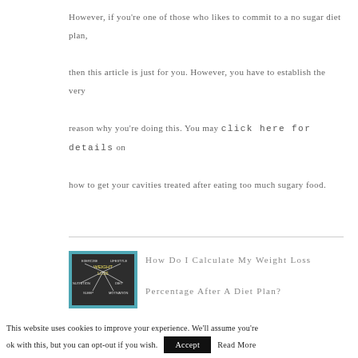However, if you're one of those who likes to commit to a no sugar diet plan, then this article is just for you. However, you have to establish the very reason why you're doing this. You may click here for details on how to get your cavities treated after eating too much sugary food.
[Figure (photo): Thumbnail image of a chalkboard with weight loss mind-map diagram, framed in teal, placed on wood surface]
How Do I Calculate My Weight Loss Percentage After A Diet Plan?
In Fitness
December 18, 2019
This website uses cookies to improve your experience. We'll assume you're ok with this, but you can opt-out if you wish.  Accept  Read More